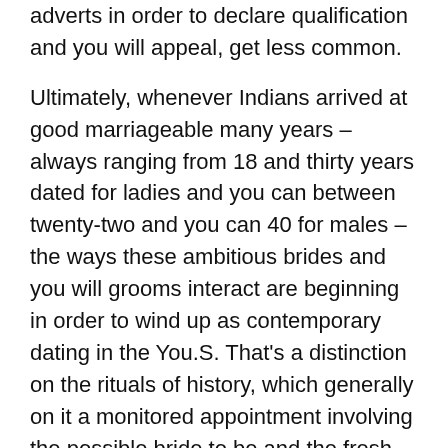adverts in order to declare qualification and you will appeal, get less common.
Ultimately, whenever Indians arrived at good marriageable many years – always ranging from 18 and thirty years dated for ladies and you can between twenty-two and you can 40 for males – the ways these ambitious brides and you will grooms interact are beginning in order to wind up as contemporary dating in the You.S. That's a distinction on the rituals of history, which generally on it a monitored appointment involving the possible bride to be and the fresh bridegroom and many group meetings between their own families.
Install erican-design